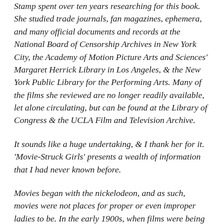Stamp spent over ten years researching for this book. She studied trade journals, fan magazines, ephemera, and many official documents and records at the National Board of Censorship Archives in New York City, the Academy of Motion Picture Arts and Sciences' Margaret Herrick Library in Los Angeles, & the New York Public Library for the Performing Arts. Many of the films she reviewed are no longer readily available, let alone circulating, but can be found at the Library of Congress & the UCLA Film and Television Archive.
It sounds like a huge undertaking, & I thank her for it. 'Movie-Struck Girls' presents a wealth of information that I had never known before.
Movies began with the nickelodeon, and as such, movies were not places for proper or even improper ladies to be. In the early 1900s, when films were being moved from